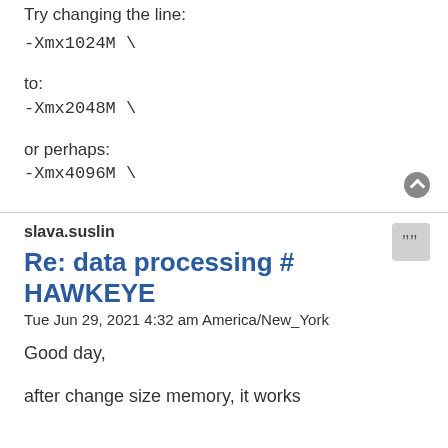Try changing the line:
-Xmx1024M \
to:
-Xmx2048M \
or perhaps:
-Xmx4096M \
slava.suslin
Re: data processing # HAWKEYE
Tue Jun 29, 2021 4:32 am America/New_York
Good day,
after change size memory, it works